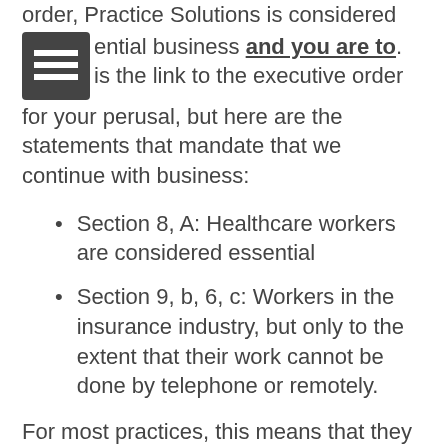order, Practice Solutions is considered a essential business and you are to. Here is the link to the executive order for your perusal, but here are the statements that mandate that we continue with business:
Section 8, A: Healthcare workers are considered essential
Section 9, b, 6, c: Workers in the insurance industry, but only to the extent that their work cannot be done by telephone or remotely.
For most practices, this means that they can continue their work as normal, but